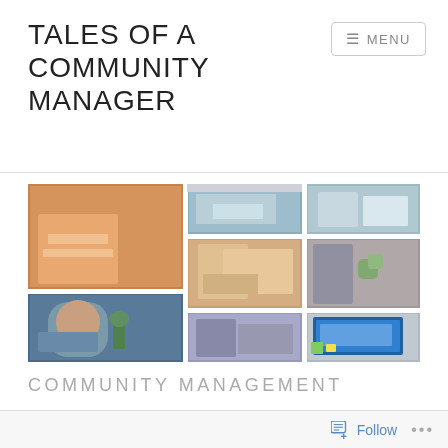TALES OF A COMMUNITY MANAGER
≡ MENU
[Figure (photo): Collage of multiple photos showing people working — writing, using laptops, reading, collaborating in office environments. Mix of diverse individuals in various professional settings.]
COMMUNITY MANAGEMENT
Follow ...